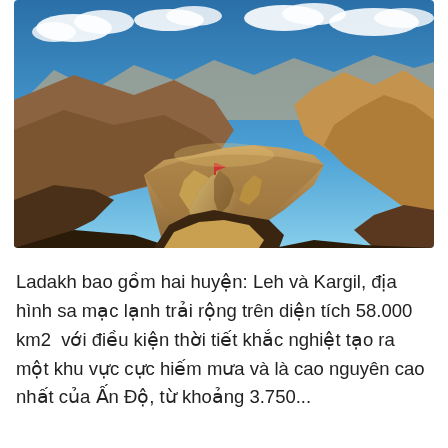[Figure (photo): Landscape photograph of Ladakh mountain scenery: rugged rocky foreground with jagged stone formation in center, sweeping brown desert mountains in mid-ground, blue sky with white clouds in background.]
Ladakh bao gồm hai huyện: Leh và Kargil, địa hình sa mạc lạnh trải rộng trên diện tích 58.000 km2  với điều kiện thời tiết khắc nghiệt tạo ra một khu vực cực hiếm mưa và là cao nguyên cao nhất của Ấn Độ, từ khoảng 3.750...